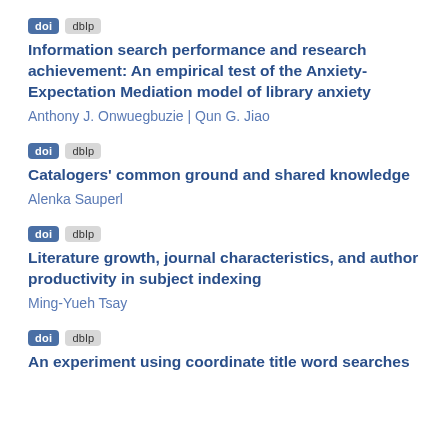doi dblp
Information search performance and research achievement: An empirical test of the Anxiety-Expectation Mediation model of library anxiety
Anthony J. Onwuegbuzie | Qun G. Jiao
doi dblp
Catalogers' common ground and shared knowledge
Alenka Sauperl
doi dblp
Literature growth, journal characteristics, and author productivity in subject indexing
Ming-Yueh Tsay
doi dblp
An experiment using coordinate title word searches